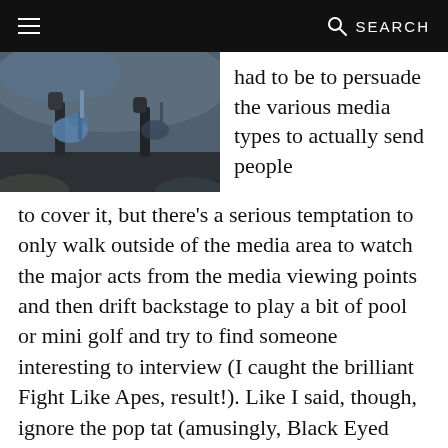≡   SEARCH
[Figure (photo): A musician playing guitar on stage with atmospheric stage lighting and smoke, wearing a dark shirt.]
had to be to persuade the various media types to actually send people to cover it, but there's a serious temptation to only walk outside of the media area to watch the major acts from the media viewing points and then drift backstage to play a bit of pool or mini golf and try to find someone interesting to interview (I caught the brilliant Fight Like Apes, result!). Like I said, though, ignore the pop tat (amusingly, Black Eyed Peas performance was so awful that their fans are criticizing them for it. That'd take some doing given how bad they were when they got praised last time I saw them…), and there's some great stuff. The Strokes, Foo Fighters, Grouplove and The Minutes particularly impressed me. The 'let's be as offensive as we can' rap of Odd Future